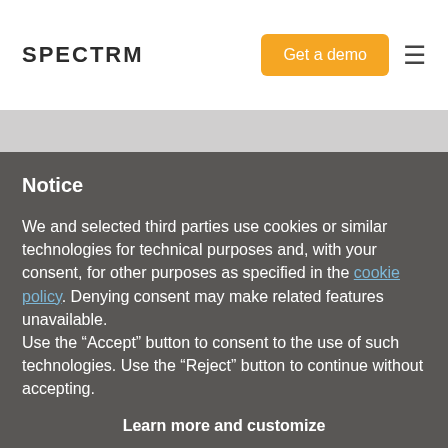SPECTRM
Get a demo
Notice
We and selected third parties use cookies or similar technologies for technical purposes and, with your consent, for other purposes as specified in the cookie policy. Denying consent may make related features unavailable.
Use the “Accept” button to consent to the use of such technologies. Use the “Reject” button to continue without accepting.
Reject
Accept
GUIDE ANY EXPERIENCE
Learn more and customize